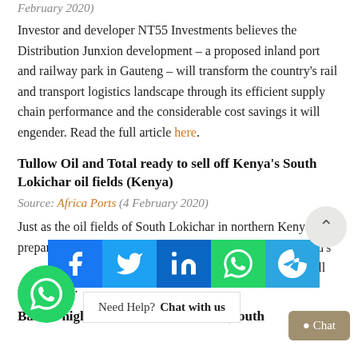February 2020)
Investor and developer NT55 Investments believes the Distribution Junxion development – a proposed inland port and railway park in Gauteng – will transform the country's rail and transport logistics landscape through its efficient supply chain performance and the considerable cost savings it will engender. Read the full article here.
Tullow Oil and Total ready to sell off Kenya's South Lokichar oil fields (Kenya)
Source: Africa Ports (4 February 2020)
Just as the oil fields of South Lokichar in northern Kenya are preparing to go into production 2024, it appears that Ireland's … are preparing to sell their interests. Read the full article here.
Bar set high for new Transnet CEO (South